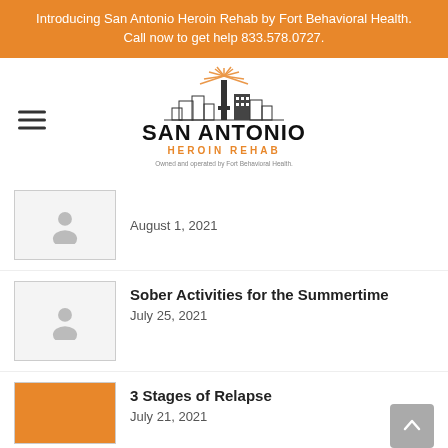Introducing San Antonio Heroin Rehab by Fort Behavioral Health. Call now to get help 833.578.0727.
[Figure (logo): San Antonio Heroin Rehab logo with city skyline illustration, orange sunburst, black bold text SAN ANTONIO, orange text HEROIN REHAB, and tagline Owned and operated by Fort Behavioral Health.]
[Figure (photo): Blog post thumbnail placeholder with person silhouette icon]
August 1, 2021
[Figure (photo): Blog post thumbnail placeholder with person silhouette icon]
Sober Activities for the Summertime
July 25, 2021
[Figure (photo): Blog post thumbnail placeholder with orange background]
3 Stages of Relapse
July 21, 2021